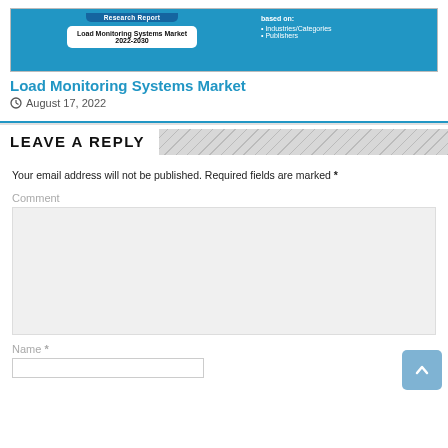[Figure (screenshot): Thumbnail image of a Load Monitoring Systems Market research report cover, showing blue background with a white box containing title and years 2022-2030, and a right panel with 'based on: Industries/Categories, Publishers' text]
Load Monitoring Systems Market
August 17, 2022
LEAVE A REPLY
Your email address will not be published. Required fields are marked *
Comment
Name *